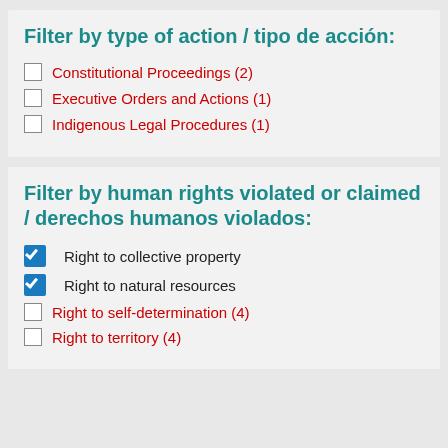Filter by type of action / tipo de acción:
Constitutional Proceedings (2)
Executive Orders and Actions (1)
Indigenous Legal Procedures (1)
Filter by human rights violated or claimed / derechos humanos violados:
Right to collective property
Right to natural resources
Right to self-determination (4)
Right to territory (4)